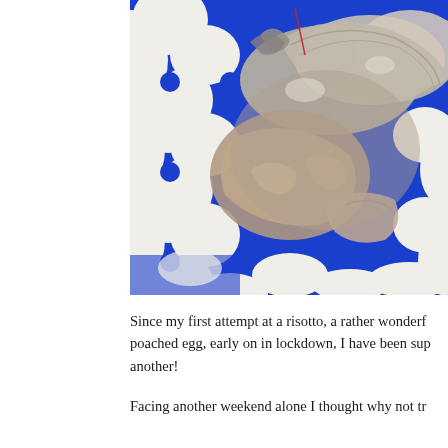[Figure (photo): Close-up photo of raw seafood (shrimp and crab/squid pieces) arranged on a blue and white patterned ceramic plate or surface with circular floral motifs.]
Since my first attempt at a risotto, a rather wonderful poached egg, early on in lockdown, I have been sup another!
Facing another weekend alone I thought why not tr